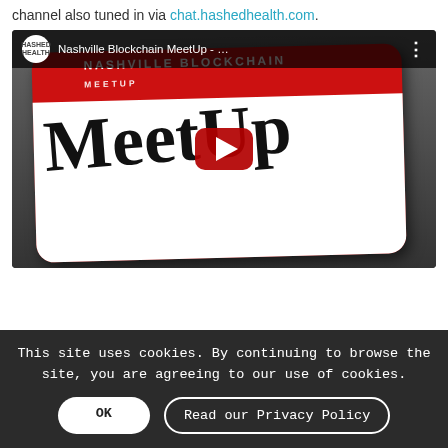channel also tuned in via chat.hashedhealth.com.
[Figure (screenshot): YouTube video thumbnail for 'Nashville Blockchain MeetUp - ...' showing a red nametag-style card with 'NASHVILLE BLOCKCHAIN' at the top and 'MeetUp' written in large stylized text, with a YouTube play button overlay. The Hashed Health logo is visible in the top left.]
This site uses cookies. By continuing to browse the site, you are agreeing to our use of cookies.
OK   Read our Privacy Policy